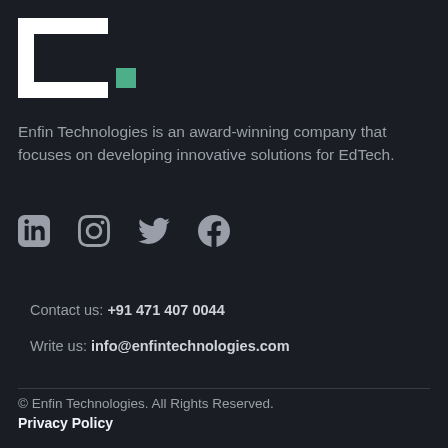[Figure (logo): Enfin Technologies logo: white C-shaped bracket with a green square accent]
Enfin Technologies is an award-winning company that focuses on developing innovative solutions for EdTech.
[Figure (infographic): Social media icons: LinkedIn, Instagram, Twitter, Facebook]
Contact us: +91 471 407 0044
Write us: info@enfintechnologies.com
© Enfin Technologies. All Rights Reserved. Privacy Policy